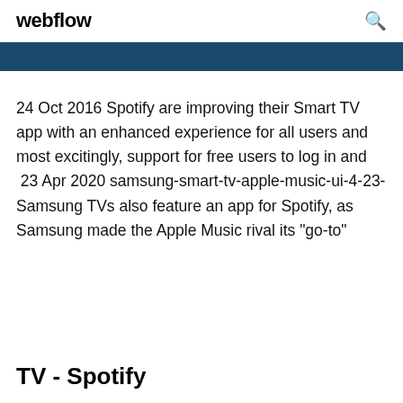webflow
24 Oct 2016 Spotify are improving their Smart TV app with an enhanced experience for all users and most excitingly, support for free users to log in and  23 Apr 2020 samsung-smart-tv-apple-music-ui-4-23- Samsung TVs also feature an app for Spotify, as Samsung made the Apple Music rival its "go-to"
TV - Spotify